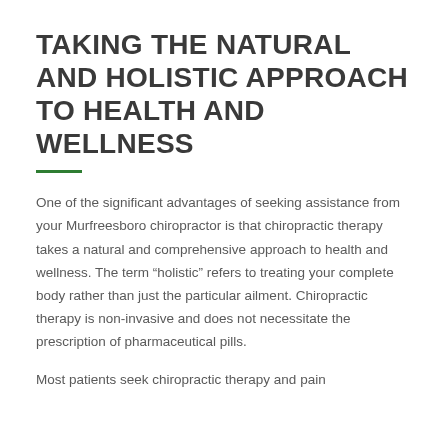TAKING THE NATURAL AND HOLISTIC APPROACH TO HEALTH AND WELLNESS
One of the significant advantages of seeking assistance from your Murfreesboro chiropractor is that chiropractic therapy takes a natural and comprehensive approach to health and wellness. The term “holistic” refers to treating your complete body rather than just the particular ailment. Chiropractic therapy is non-invasive and does not necessitate the prescription of pharmaceutical pills.
Most patients seek chiropractic therapy and pain